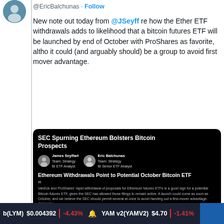@EricBalchunas · Follow
New note out today from @JSeyff re how the Ether ETF withdrawals adds to likelihood that a bitcoin futures ETF will be launched by end of October with ProShares as favorite, altho it could (and arguably should) be a group to avoid first mover advantage.
[Figure (screenshot): Embedded Bloomberg Intelligence note card with black background. Title: SEC Spurning Ethereum Bolsters Bitcoin Prospects. Authors: James Seyffart (BI ETF Analyst) and Eric Balchunas (BI Senior ETF Analyst). Subtitle: Ethereum Withdrawals Point to Potential October Bitcoin ETF. Body text: VanEck and ProShares' rapid withdrawal of proposals for Ethereum futures ETFs is a good sign for a potential Bitcoin futures ETF, given the SEC has allowed those filings to remain active. A launch could come as soon as October, and we believe the SEC should permit several at once to avoid handing out a first-mover advantage. (08/24/21)]
11:58 AM · Aug 24, 2021
Read the full conversation on Twitter
b(LYM) $0.004392 ↓ -4.43%   YAM v2(YAMV2) $4.70 ↓ -1.41%